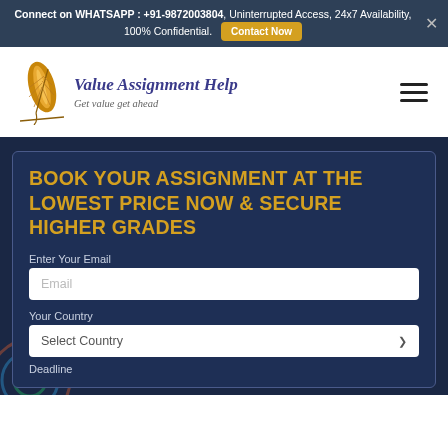Connect on WHATSAPP : +91-9872003804, Uninterrupted Access, 24x7 Availability, 100% Confidential. Contact Now
[Figure (logo): Value Assignment Help logo with feather quill icon and text 'Value Assignment Help — Get value get ahead']
BOOK YOUR ASSIGNMENT AT THE LOWEST PRICE NOW & SECURE HIGHER GRADES
Enter Your Email
Email (input field)
Your Country
Select Country (dropdown)
Deadline